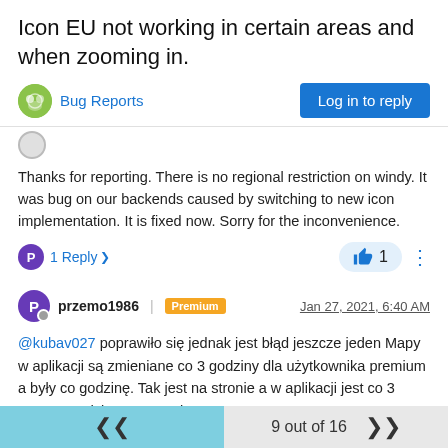Icon EU not working in certain areas and when zooming in.
Bug Reports
Thanks for reporting. There is no regional restriction on windy. It was bug on our backends caused by switching to new icon implementation. It is fixed now. Sorry for the inconvenience.
P  1 Reply >  👍 1
przemo1986 | Premium  Jan 27, 2021, 6:40 AM
@kubav027 poprawiło się jednak jest błąd jeszcze jeden Mapy w aplikacji są zmieniane co 3 godziny dla użytkownika premium a były co godzinę. Tak jest na stronie a w aplikacji jest co 3 znowu. Będzie to poprawione ?
9 out of 16